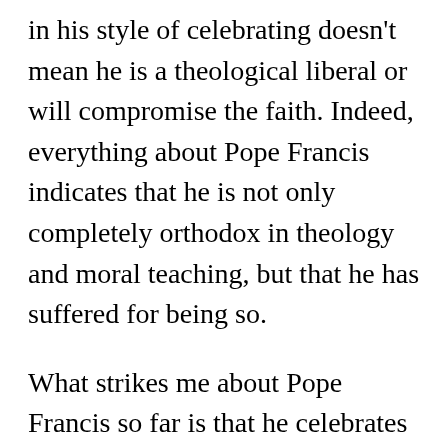in his style of celebrating doesn't mean he is a theological liberal or will compromise the faith. Indeed, everything about Pope Francis indicates that he is not only completely orthodox in theology and moral teaching, but that he has suffered for being so.

What strikes me about Pope Francis so far is that he celebrates Mass reverently and beautifully, but that his simplicity of life and his example of poverty means that he may not be as concerned about the “finer things” in Catholic worship. That doesn’t mean he’s going to ban everything that is beautiful, sacred and reverent. The give back with his